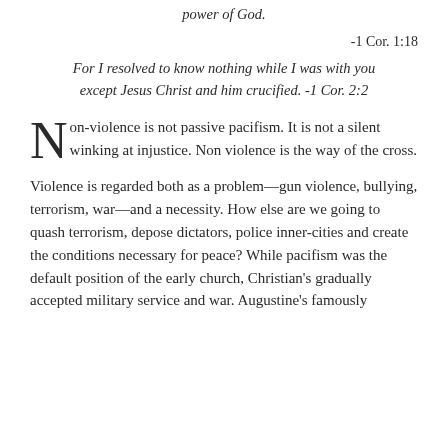power of God.
-1 Cor. 1:18
For I resolved to know nothing while I was with you except Jesus Christ and him crucified. -1 Cor. 2:2
Non-violence is not passive pacifism. It is not a silent winking at injustice. Non violence is the way of the cross.
Violence is regarded both as a problem—gun violence, bullying, terrorism, war—and a necessity. How else are we going to quash terrorism, depose dictators, police inner-cities and create the conditions necessary for peace? While pacifism was the default position of the early church, Christian's gradually accepted military service and war. Augustine's famously